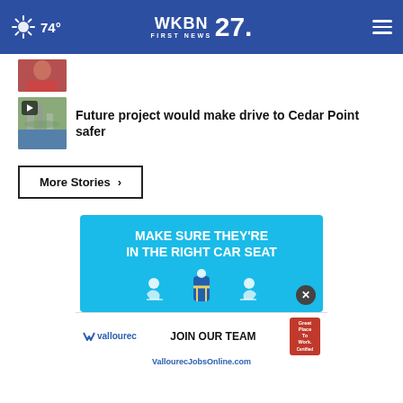74° WKBN FIRST NEWS 27.
[Figure (screenshot): Partial thumbnail of a news story at top (cropped person)]
[Figure (screenshot): News video thumbnail showing Cedar Point area with play button overlay]
Future project would make drive to Cedar Point safer
More Stories ›
[Figure (infographic): Advertisement: MAKE SURE THEY'RE IN THE RIGHT CAR SEAT - car seat safety ad with illustrated children in car seats on blue background]
[Figure (infographic): Vallourec advertisement: JOIN OUR TEAM - Great Place To Work Certified badge - VallourecJobsOnline.com]